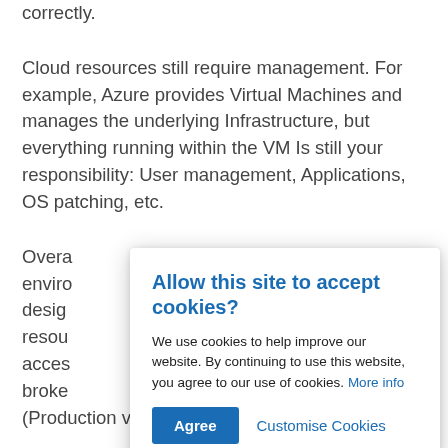correctly.
Cloud resources still require management. For example, Azure provides Virtual Machines and manages the underlying Infrastructure, but everything running within the VM Is still your responsibility: User management, Applications, OS patching, etc.
Overall ... (Production versus Testing)? A strategy should
[Figure (screenshot): Cookie consent dialog box with title 'Allow this site to accept cookies?', body text about cookie use, a blue 'Agree' button, and a 'Customise Cookies' link.]